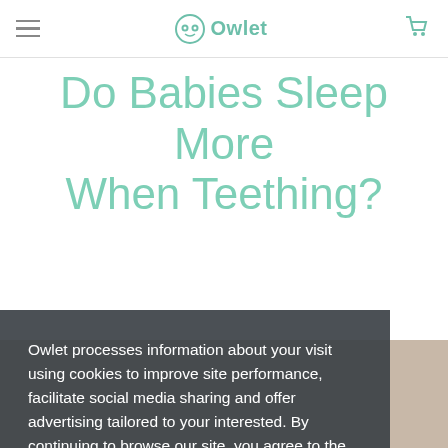Owlet
Do Babies Sleep More When Teething?
Owlet processes information about your visit using cookies to improve site performance, facilitate social media sharing and offer advertising tailored to your interested. By continuing to browse our site, you agree to the use of these cookies. For more information see our Privacy & Cookie Policy
Got it!